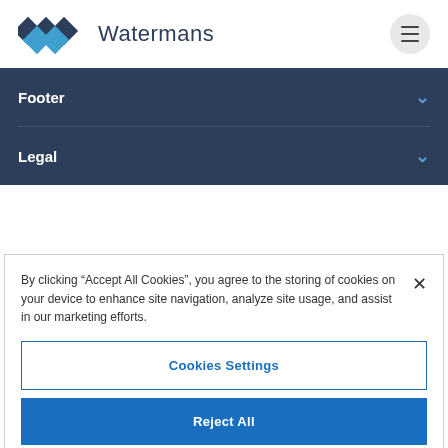[Figure (logo): Watermans logo with diamond shapes in dark blue and light blue, followed by the text 'Watermans']
Footer
Legal
By clicking “Accept All Cookies”, you agree to the storing of cookies on your device to enhance site navigation, analyze site usage, and assist in our marketing efforts.
Cookies Settings
Reject All
Accept All Cookies